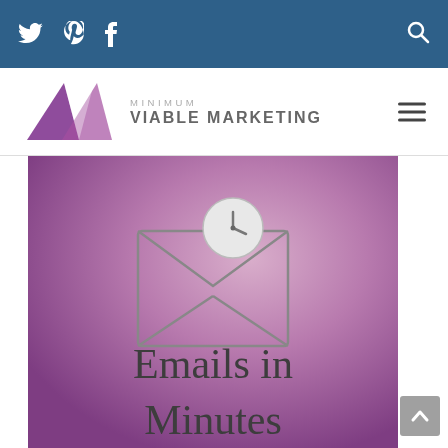Twitter Pinterest Facebook [Search]
[Figure (logo): Minimum Viable Marketing logo with purple M triangles and text 'MINIMUM VIABLE MARKETING']
[Figure (illustration): Purple gradient background with envelope icon and clock, text 'Emails in Minutes']